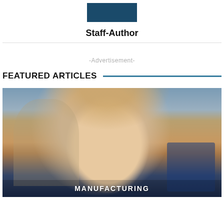[Figure (photo): Small dark blue author avatar image placeholder]
Staff-Author
-Advertisement-
FEATURED ARTICLES
[Figure (photo): Portrait photo of a smiling blonde woman in a formal setting, with text overlay 'MANUFACTURING']
MANUFACTURING